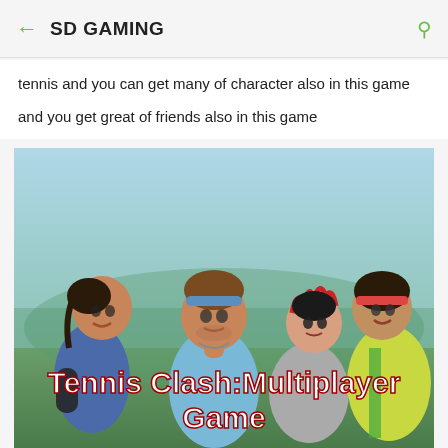← SD GAMING 🔍
tennis and you can get many of character also in this game and you get great of friends also in this game
[Figure (photo): Promotional image for Tennis Clash: Multiplayer Game showing four animated game characters in tennis outfits with bold white text overlay reading 'Tennis Clash:Multiplayer Game']